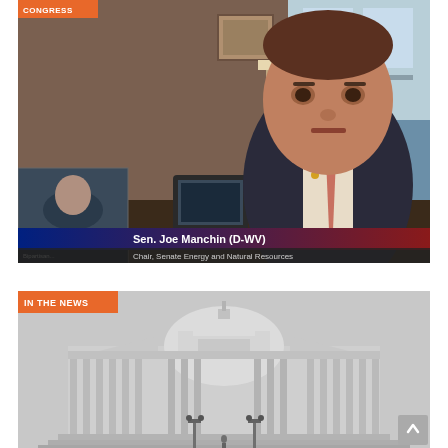[Figure (screenshot): Video call screenshot showing Sen. Joe Manchin (D-WV), Chair, Senate Energy and Natural Resources, speaking from his office. A lower-third graphic identifies him. A small inset in the lower left shows another participant. An orange label tag in the top-left reads 'CONGRESS'.]
Sen. Joe Manchin (D-WV) — Chair, Senate Energy and Natural Resources
[Figure (photo): Black-and-white photograph of the United States Capitol building exterior, showing tall columns and wide steps. An orange label tag in the top-left reads 'IN THE NEWS'. A scroll-to-top arrow button appears in the bottom-right corner.]